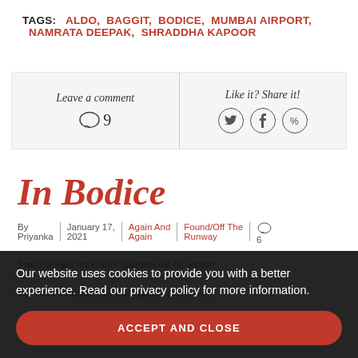TAGS: ALDO, BAGGIT, BODICE, MUMBAI AIRPORT, NAMRATA DEEPAK, SHRADDHA KAPOOR
Leave a comment | Like it? Share it! ○9
In Bodice
By Priyanka | January 17, 2021 | Again And Again | Found/Off The Runway | 6
Sonali brought her Bodice separates out for another
was bit of a bummer, but the separates themselves,
Our website uses cookies to provide you with a better experience. Read our privacy policy for more information.
ACCEPT AND CLOSE